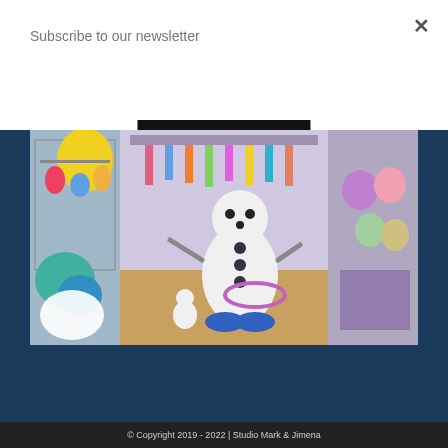Subscribe to our newsletter
Subscribe
[Figure (photo): Interior of a toy/gift store with colorful stuffed animals, balloons, and merchandise on wire racks. A person in a white snowman mascot costume stands in the center aisle. Wooden floor visible.]
Follow us on Instagram
© Copyright 2019 - 2022 | Studio Mark & Jimena